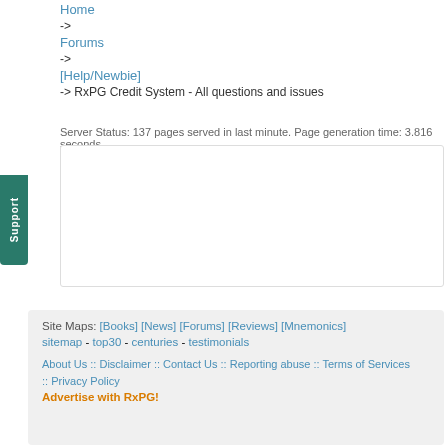Home
->
Forums
->
[Help/Newbie]
-> RxPG Credit System - All questions and issues
Server Status: 137 pages served in last minute. Page generation time: 3.816 seconds
[Figure (other): Content box with Support tab on left side]
Site Maps: [Books] [News] [Forums] [Reviews] [Mnemonics]
sitemap - top30 - centuries - testimonials
About Us :: Disclaimer :: Contact Us :: Reporting abuse :: Terms of Services :: Privacy Policy
Advertise with RxPG!